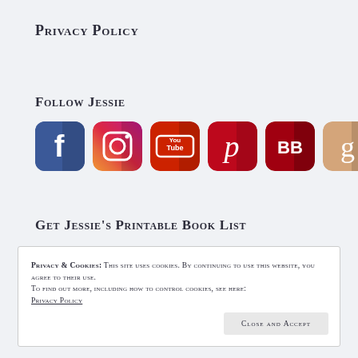Privacy Policy
Follow Jessie
[Figure (illustration): Six social media icons in rounded square format: Facebook (blue), Instagram (gradient purple-orange), YouTube (red), Pinterest (red), BookBub (dark red with BB), Goodreads (tan/beige with g)]
Get Jessie's Printable Book List
Privacy & Cookies: This site uses cookies. By continuing to use this website, you agree to their use.
To find out more, including how to control cookies, see here:
Privacy Policy
Close and Accept